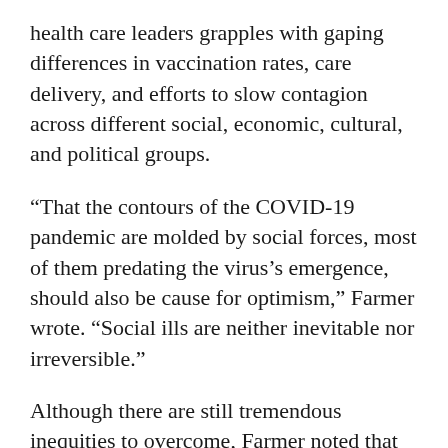health care leaders grapples with gaping differences in vaccination rates, care delivery, and efforts to slow contagion across different social, economic, cultural, and political groups.
“That the contours of the COVID-19 pandemic are molded by social forces, most of them predating the virus’s emergence, should also be cause for optimism,” Farmer wrote. “Social ills are neither inevitable nor irreversible.”
Although there are still tremendous inequities to overcome, Farmer noted that over the decades the department’s faculty—in collaboration with partners across the University, within the School’s clinical affiliates, and in an array of governmental and